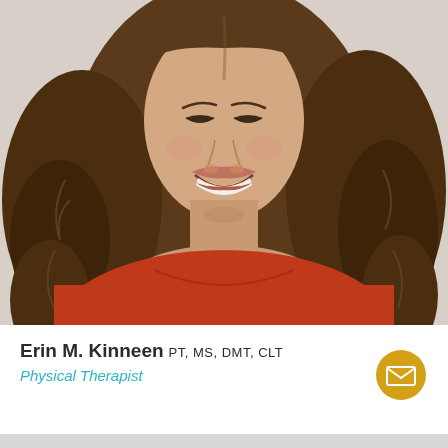[Figure (photo): Professional headshot of Erin M. Kinneen, a woman with curly brown hair smiling, wearing a red/orange top, photographed from the shoulders up against a light gray background.]
Erin M. Kinneen PT, MS, DMT, CLT
Physical Therapist